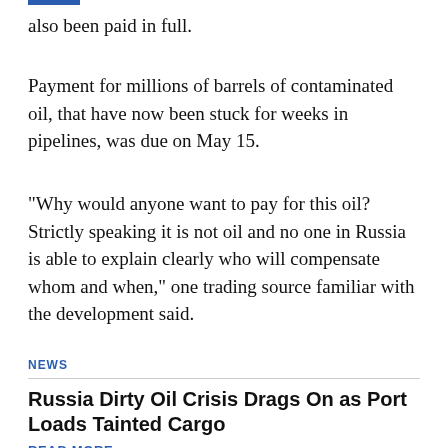also been paid in full.
Payment for millions of barrels of contaminated oil, that have now been stuck for weeks in pipelines, was due on May 15.
"Why would anyone want to pay for this oil? Strictly speaking it is not oil and no one in Russia is able to explain clearly who will compensate whom and when," one trading source familiar with the development said.
NEWS
Russia Dirty Oil Crisis Drags On as Port Loads Tainted Cargo
READ MORE